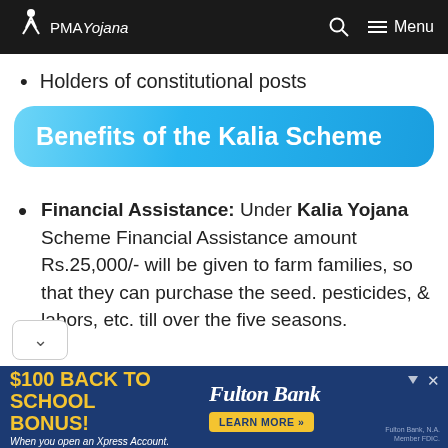PMA Yojana
Holders of constitutional posts
Benefits of the Kalia Scheme
Financial Assistance: Under Kalia Yojana Scheme Financial Assistance amount Rs.25,000/- will be given to farm families, so that they can purchase the seed. pesticides, & labors, etc. till over the five seasons.
Agriculture Household: Under this scheme, the Odisha government giving
[Figure (screenshot): Fulton Bank advertisement: $100 Back to School Bonus! When you open an Xpress Account. Learn More button.]